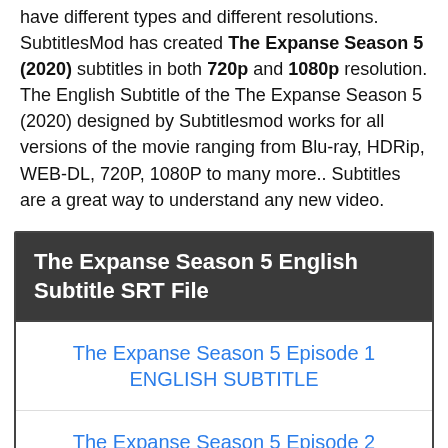have different types and different resolutions. SubtitlesMod has created The Expanse Season 5 (2020) subtitles in both 720p and 1080p resolution. The English Subtitle of the The Expanse Season 5 (2020) designed by Subtitlesmod works for all versions of the movie ranging from Blu-ray, HDRip, WEB-DL, 720P, 1080P to many more.. Subtitles are a great way to understand any new video.
| The Expanse Season 5 English Subtitle SRT File |
| --- |
| The Expanse Season 5 Episode 1 ENGLISH SUBTITLE |
| The Expanse Season 5 Episode 2 ENGLISH SUBTITLE |